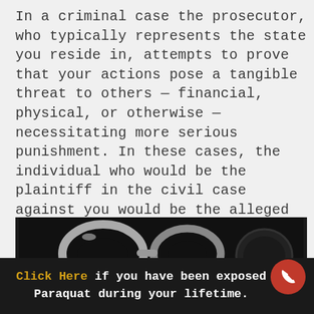In a criminal case the prosecutor, who typically represents the state you reside in, attempts to prove that your actions pose a tangible threat to others — financial, physical, or otherwise — necessitating more serious punishment. In these cases, the individual who would be the plaintiff in the civil case against you would be the alleged victim of your crimes.
[Figure (photo): Dark photograph showing metal handcuffs and what appears to be a dark round object, possibly a gavel or cannonball, against a black background.]
Click Here if you have been exposed Paraquat during your lifetime.